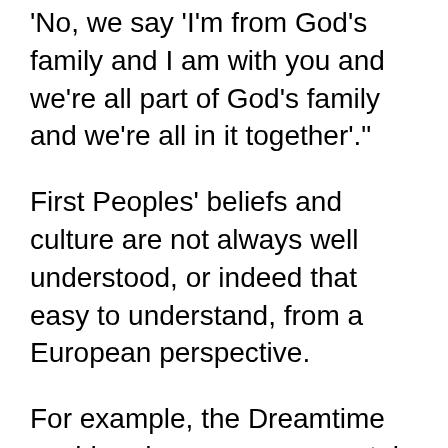'No, we say 'I'm from God's family and I am with you and we're all part of God's family and we're all in it together'.'
First Peoples' beliefs and culture are not always well understood, or indeed that easy to understand, from a European perspective.
For example, the Dreamtime could perhaps more accurately be called the Dreaming in the same sense of a church that is “Uniting”.
It is not a one-off event or period, but a timeless process where place and people